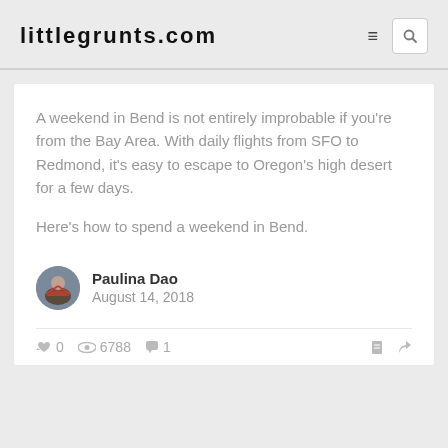littlegrunts.com
A weekend in Bend is not entirely improbable if you're from the Bay Area. With daily flights from SFO to Redmond, it's easy to escape to Oregon's high desert for a few days.

Here's how to spend a weekend in Bend.
Paulina Dao
August 14, 2018
0  6788  1